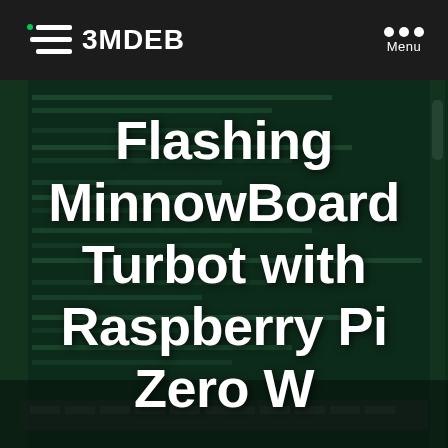[Figure (logo): 3MDEB logo with stylized lines icon and bold text]
Menu
[Figure (screenshot): Dark green terminal/code editor screenshot showing C source code lines in the background, with a laptop visible at the bottom]
Flashing MinnowBoard Turbot with Raspberry Pi Zero W